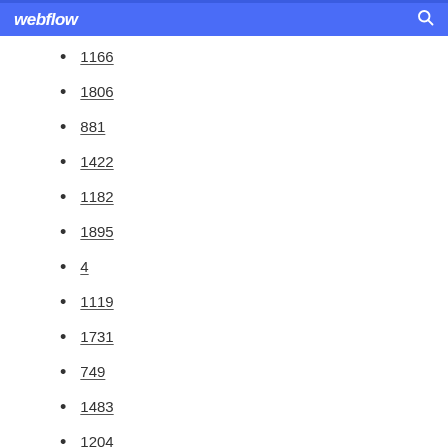webflow
1166
1806
881
1422
1182
1895
4
1119
1731
749
1483
1204
499